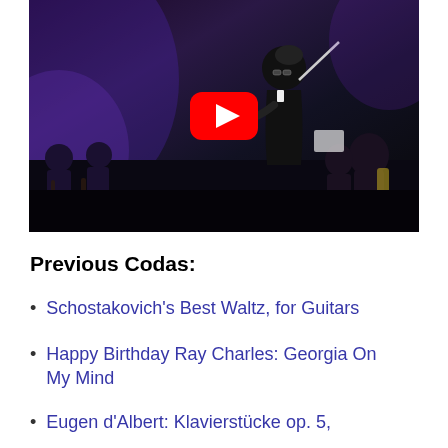[Figure (photo): A conductor in a black suit holding a baton, standing in front of an orchestra on a darkly lit stage with blue and purple lighting. A YouTube play button overlay is visible in the center of the image.]
Previous Codas:
Schostakovich's Best Waltz, for Guitars
Happy Birthday Ray Charles: Georgia On My Mind
Eugen d'Albert: Klavierstücke op. 5,